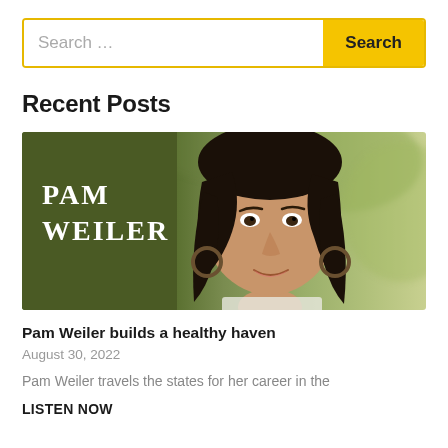Search …
Recent Posts
[Figure (photo): Photo of Pam Weiler smiling, with dark hair and hoop earrings, against a blurred green outdoor background. The left portion of the image has an olive/dark green panel with the text 'PAM WEILER' in white serif letters.]
Pam Weiler builds a healthy haven
August 30, 2022
Pam Weiler travels the states for her career in the
LISTEN NOW